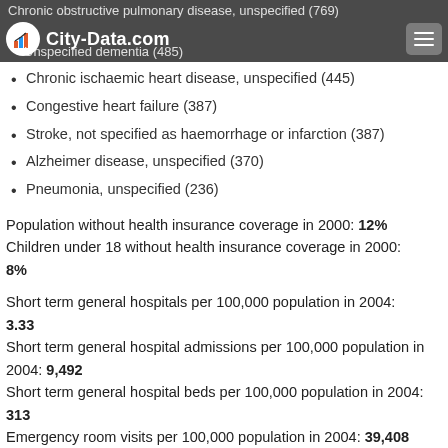City-Data.com | Chronic obstructive pulmonary disease, unspecified (769) | Unspecified dementia (485)
Chronic ischaemic heart disease, unspecified (445)
Congestive heart failure (387)
Stroke, not specified as haemorrhage or infarction (387)
Alzheimer disease, unspecified (370)
Pneumonia, unspecified (236)
Population without health insurance coverage in 2000: 12%
Children under 18 without health insurance coverage in 2000: 8%
Short term general hospitals per 100,000 population in 2004: 3.33
Short term general hospital admissions per 100,000 population in 2004: 9,492
Short term general hospital beds per 100,000 population in 2004: 313
Emergency room visits per 100,000 population in 2004: 39,408